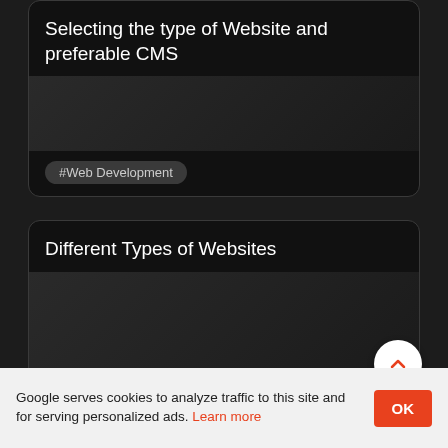Selecting the type of Website and preferable CMS
#Web Development
WebDev · August 26, 2019 · 5 min read
Different Types of Websites
#Web Development
WebDev · August 26, 2019 · 5 min read
Google serves cookies to analyze traffic to this site and for serving personalized ads. Learn more